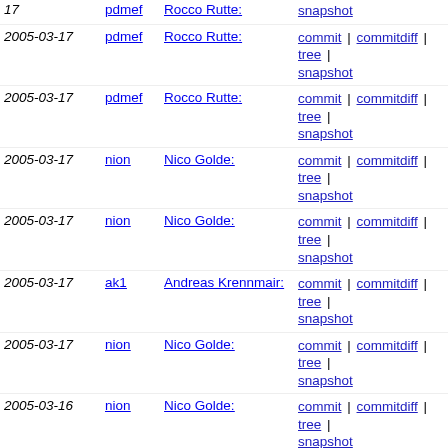17 | pdmef | Rocco Rutte: | commit | commitdiff | tree | snapshot
2005-03-17 | pdmef | Rocco Rutte: | commit | commitdiff | tree | snapshot
2005-03-17 | pdmef | Rocco Rutte: | commit | commitdiff | tree | snapshot
2005-03-17 | nion | Nico Golde: | commit | commitdiff | tree | snapshot
2005-03-17 | nion | Nico Golde: | commit | commitdiff | tree | snapshot
2005-03-17 | ak1 | Andreas Krennmair: | commit | commitdiff | tree | snapshot
2005-03-17 | nion | Nico Golde: | commit | commitdiff | tree | snapshot
2005-03-16 | nion | Nico Golde: | commit | commitdiff | tree | snapshot
2005-03-16 | nion | Nico Golde: | commit | commitdiff | tree | snapshot
2005-03-16 | ak1 | Andreas Krennmair: | commit | commitdiff | tree | snapshot
2005-03-16 | pdmef | Rocco Rutte: | commit | commitdiff | tree | snapshot
2005-03-15 | pdmef | Rocco Rutte: | commit | commitdiff | tree | snapshot